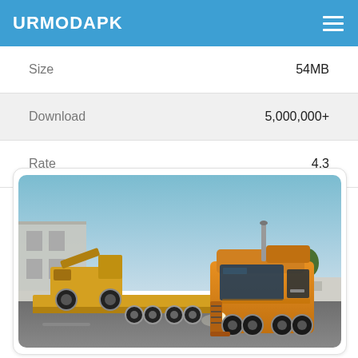URMODAPK
|  |  |
| --- | --- |
| Size | 54MB |
| Download | 5,000,000+ |
| Rate | 4.3 |
[Figure (screenshot): Screenshot of a truck simulator game showing an orange semi-truck hauling heavy equipment on a flatbed trailer, with a warehouse and trees in the background.]